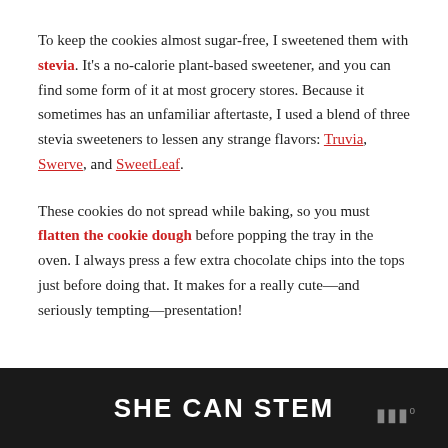To keep the cookies almost sugar-free, I sweetened them with stevia. It's a no-calorie plant-based sweetener, and you can find some form of it at most grocery stores. Because it sometimes has an unfamiliar aftertaste, I used a blend of three stevia sweeteners to lessen any strange flavors: Truvia, Swerve, and SweetLeaf.
These cookies do not spread while baking, so you must flatten the cookie dough before popping the tray in the oven. I always press a few extra chocolate chips into the tops just before doing that. It makes for a really cute—and seriously tempting—presentation!
SHE CAN STEM